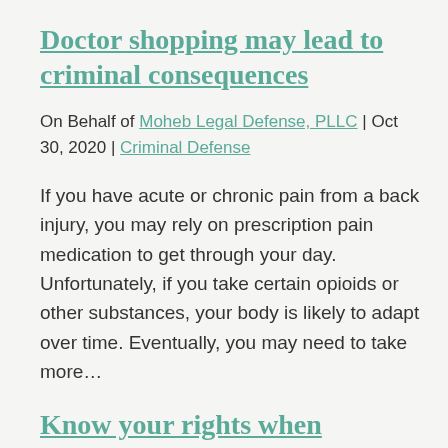Doctor shopping may lead to criminal consequences
On Behalf of Moheb Legal Defense, PLLC | Oct 30, 2020 | Criminal Defense
If you have acute or chronic pain from a back injury, you may rely on prescription pain medication to get through your day. Unfortunately, if you take certain opioids or other substances, your body is likely to adapt over time. Eventually, you may need to take more…
Know your rights when communicating